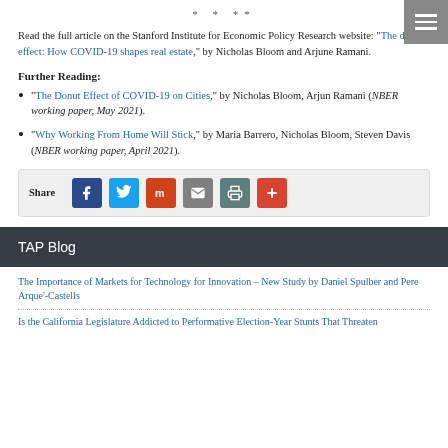* * **
Read the full article on the Stanford Institute for Economic Policy Research website: “The donut effect: How COVID-19 shapes real estate,” by Nicholas Bloom and Arjune Ramani.
Further Reading:
“The Donut Effect of COVID-19 on Cities,” by Nicholas Bloom, Arjun Ramani (NBER working paper, May 2021).
“Why Working From Home Will Stick,” by Maria Barrero, Nicholas Bloom, Steven Davis (NBER working paper, April 2021).
[Figure (infographic): Share bar with Facebook, Twitter, Mix, Email, Print, and Plus buttons]
TAP Blog
The Importance of Markets for Technology for Innovation – New Study by Daniel Spulber and Pere Arque’-Castells
Is the California Legislature Addicted to Performative Election-Year Stunts That Threaten